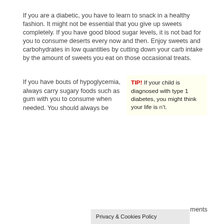If you are a diabetic, you have to learn to snack in a healthy fashion. It might not be essential that you give up sweets completely. If you have good blood sugar levels, it is not bad for you to consume deserts every now and then. Enjoy sweets and carbohydrates in low quantities by cutting down your carb intake by the amount of sweets you eat on those occasional treats.
If you have bouts of hypoglycemia, always carry sugary foods such as gum with you to consume when needed. You should always b... ments
TIP! If your child is diagnosed with type 1 diabetes, you might think your life is ... n't.
Privacy & Cookies Policy